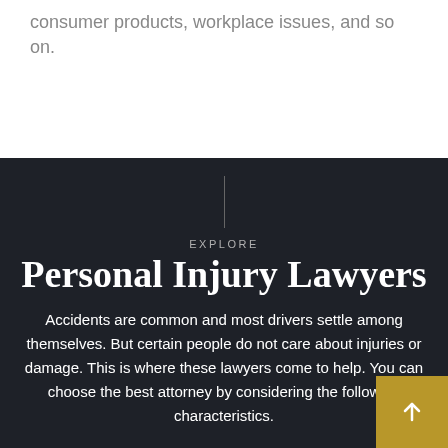consumer products, workplace issues, and so on.
EXPLORE
Personal Injury Lawyers
Accidents are common and most drivers settle among themselves. But certain people do not care about injuries or damage. This is where these lawyers come to help. You can choose the best attorney by considering the following characteristics.